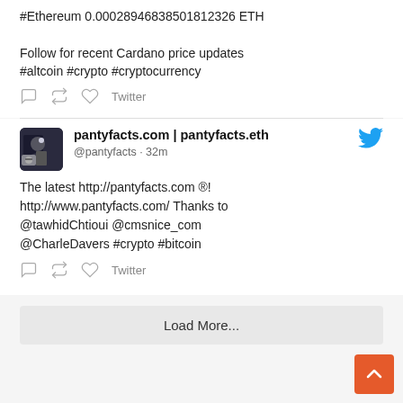#Ethereum 0.00028946838501812326 ETH
Follow for recent Cardano price updates #altcoin #crypto #cryptocurrency
pantyfacts.com | pantyfacts.eth
@pantyfacts · 32m
The latest http://pantyfacts.com ®! http://www.pantyfacts.com/ Thanks to @tawhidChtioui @cmsnice_com @CharleDavers #crypto #bitcoin
Load More...